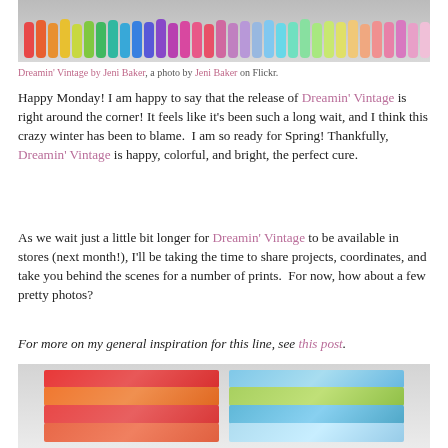[Figure (photo): Top portion of a photo showing colorful fabric rolls/bolts arranged in a rainbow sequence on a white surface]
Dreamin' Vintage by Jeni Baker, a photo by Jeni Baker on Flickr.
Happy Monday! I am happy to say that the release of Dreamin' Vintage is right around the corner! It feels like it's been such a long wait, and I think this crazy winter has been to blame.  I am so ready for Spring! Thankfully, Dreamin' Vintage is happy, colorful, and bright, the perfect cure.
As we wait just a little bit longer for Dreamin' Vintage to be available in stores (next month!), I'll be taking the time to share projects, coordinates, and take you behind the scenes for a number of prints.  For now, how about a few pretty photos?
For more on my general inspiration for this line, see this post.
[Figure (photo): Bottom portion showing stacks of folded fabric bolts - left stack with red/orange floral and geometric prints, right stack with blue/green large floral prints]